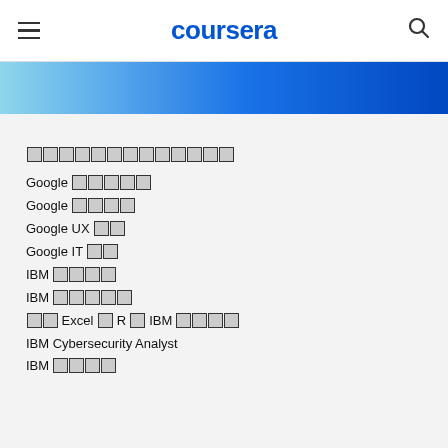coursera
[Figure (other): Blue gradient banner strip]
[tofu characters x13]
Google [tofu x5]
Google [tofu x4]
Google UX [tofu x2]
Google IT [tofu x2]
IBM [tofu x4]
IBM [tofu x5]
[tofu x2] Excel [tofu] R [tofu] IBM [tofu x4]
IBM Cybersecurity Analyst
IBM [tofu x4]